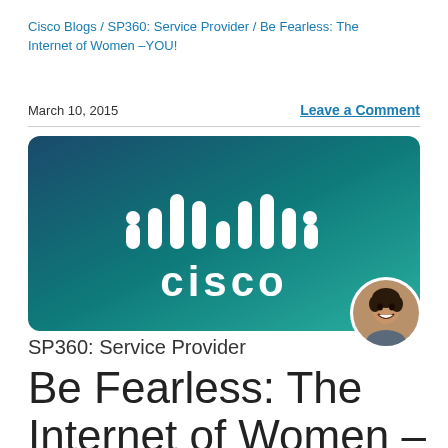Cisco Blogs / SP360: Service Provider / Be Fearless: The Internet of Women –YOU!
March 10, 2015
Leave a Comment
[Figure (logo): Cisco logo on teal-to-dark-teal gradient background with rounded corners, and circular author avatar photo overlaid at bottom right]
SP360: Service Provider
Be Fearless: The Internet of Women –